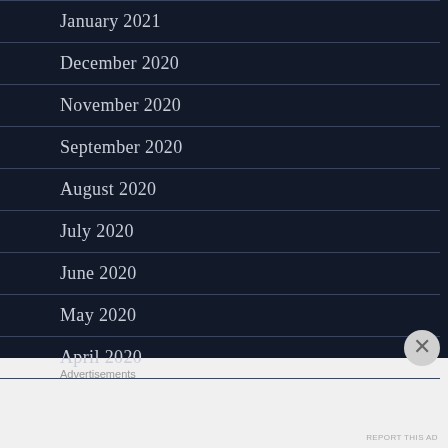January 2021
December 2020
November 2020
September 2020
August 2020
July 2020
June 2020
May 2020
April 2020
Advertisements
REPORT THIS AD